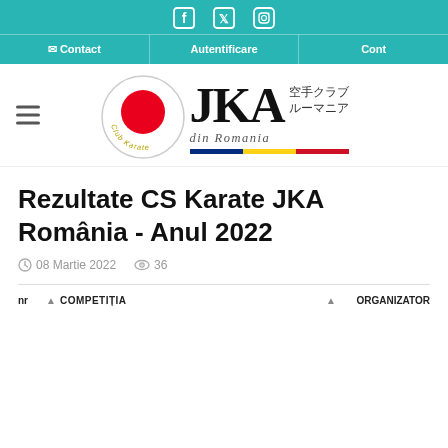Contact | Autentificare | Cont
[Figure (logo): JKA Club Karate din Romania logo with circular red sun emblem, JKA letters in serif font, Japanese text, and Romanian flag bar]
Rezultate CS Karate JKA România - Anul 2022
08 Martie 2022   36
| nr | COMPETITIA | ORGANIZATOR |
| --- | --- | --- |